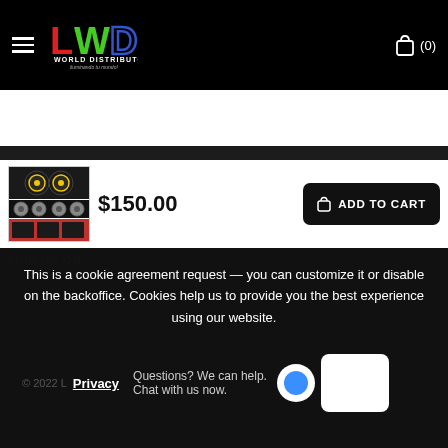LWD WORLD DISTRIBUTOR — hamburger menu and cart (0)
[Figure (logo): LWD World Distributor logo with L in red, W in green, D in blue outline, subtitle 'WORLD DISTRIBUTOR - iluminando tu mundo!']
[Figure (photo): Product image thumbnail showing a car audio speaker system set]
$150.00
ADD TO CART
This is a cookie agreement request — you can customize it or disable on the backoffice. Cookies help us to provide you the best experience using our website.
Questions? We can help. Chat with us now.
© 2022 L  Privacy